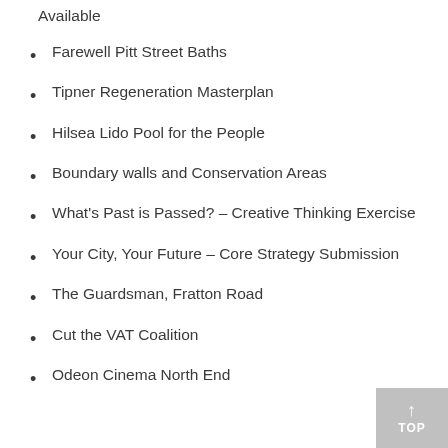Available
Farewell Pitt Street Baths
Tipner Regeneration Masterplan
Hilsea Lido Pool for the People
Boundary walls and Conservation Areas
What's Past is Passed? – Creative Thinking Exercise
Your City, Your Future – Core Strategy Submission
The Guardsman, Fratton Road
Cut the VAT Coalition
Odeon Cinema North End